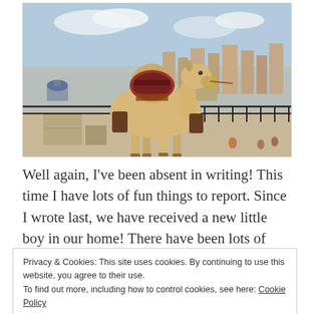[Figure (photo): A camel with decorative saddle standing on a stone terrace overlooking Jerusalem, with the Dome of the Rock and city skyline visible in the background under a partly cloudy sky.]
Well again, I've been absent in writing! This time I have lots of fun things to report. Since I wrote last, we have received a new little boy in our home! There have been lots of changes accompanying this new addition. He has gone the
Privacy & Cookies: This site uses cookies. By continuing to use this website, you agree to their use.
To find out more, including how to control cookies, see here: Cookie Policy
Close and accept